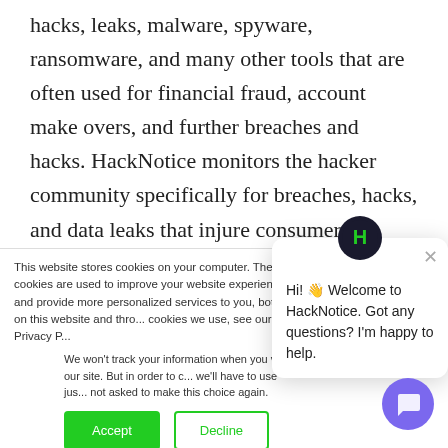hacks, leaks, malware, spyware, ransomware, and many other tools that are often used for financial fraud, account make overs, and further breaches and hacks. HackNotice monitors the hacker community specifically for breaches, hacks, and data leaks that injure consumers. HackNotice applies industry specific knowledge and advanced security practices to monitor for trends that indicate breaches, hacks,
This website stores cookies on your computer. These cookies are used to improve your website experience and provide more personalized services to you, both on this website and through other media. To find out more about the cookies we use, see our Privacy P...
We won't track your information when you visit our site. But in order to comply with your preferences, we'll have to use just one tiny cookie so that you're not asked to make this choice again.
Accept
Decline
[Figure (screenshot): Chat popup widget showing HackNotice logo (dark circle with green H) and message: Hi! Welcome to HackNotice. Got any questions? I'm happy to help. With a close X button.]